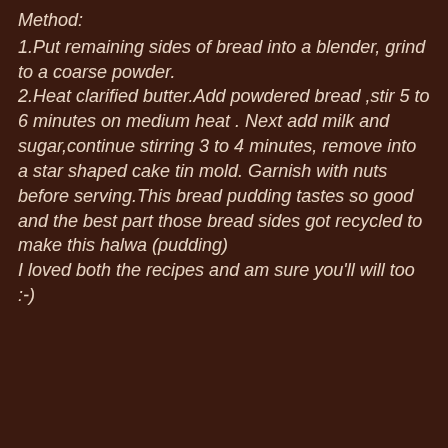Method:
1.Put remaining sides of bread into a blender, grind to a coarse powder.
2.Heat clarified butter.Add powdered bread ,stir 5 to 6 minutes on medium heat . Next add milk and sugar,continue stirring 3 to 4 minutes, remove into a star shaped cake tin mold. Garnish with nuts before serving.This bread pudding tastes so good and the best part those bread sides got recycled to make this halwa (pudding)
I loved both the recipes and am sure you'll will too :-)